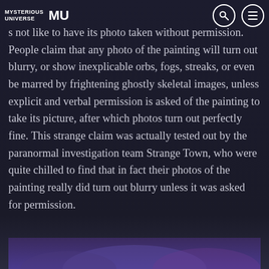MYSTERIOUS UNIVERSE | MU
s not like to have its photo taken without permission. People claim that any photo of the painting will turn out blurry, or show inexplicable orbs, fogs, streaks, or even be marred by frightening ghostly skeletal images, unless explicit and verbal permission is asked of the painting to take its picture, after which photos turn out perfectly fine. This strange claim was actually tested out by the paranormal investigation team Strange Town, who were quite chilled to find that in fact their photos of the painting really did turn out blurry unless it was asked for permission.
[Figure (photo): Bottom portion of a mysterious purple/violet colored image, partially visible at the bottom of the page]